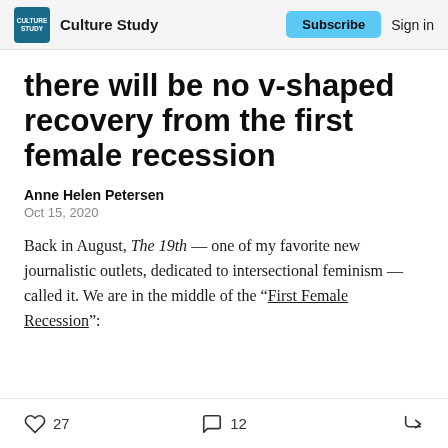Culture Study | Subscribe  Sign in
there will be no v-shaped recovery from the first female recession
Anne Helen Petersen
Oct 15, 2020
Back in August, The 19th — one of my favorite new journalistic outlets, dedicated to intersectional feminism — called it. We are in the middle of the “First Female Recession”:
27  12